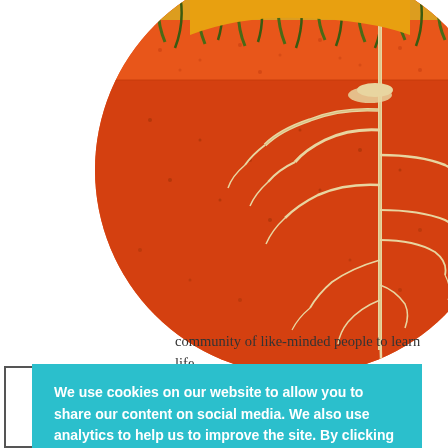[Figure (illustration): Circular illustration showing a cross-section of soil with orange/red earth layers, a thin white root/tap root extending downward through the soil layers, and golden-green grass/vegetation visible at the top edge of the circle.]
community of like-minded people to learn life- nd breathe new work and in the
ces you to the sing yourself to ompassionately to yourself.
[Figure (other): Cookie consent banner with teal/turquoise background. Text reads: 'We use cookies on our website to allow you to share our content on social media. We also use analytics to help us to improve the site. By clicking "Accept", you consent to the use of these cookies.' Buttons: 'Cookie settings' (underlined text) and 'Accept' (white button).]